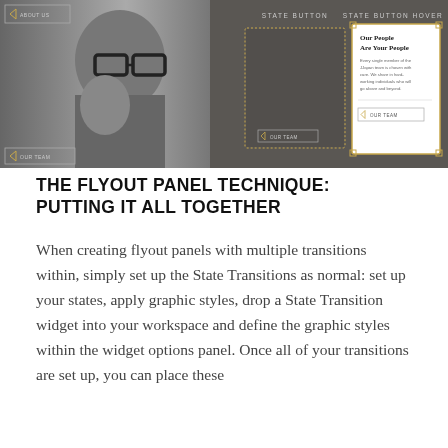[Figure (screenshot): A UI design screenshot showing a website interface with a man wearing glasses on the left (black and white photo), and on the right a dark grey panel showing 'STATE BUTTON' and 'STATE BUTTON HOVER' states. The hover state shows a white card with 'Our People Are Your People' text and a 'OUR TEAM' button.]
THE FLYOUT PANEL TECHNIQUE: PUTTING IT ALL TOGETHER
When creating flyout panels with multiple transitions within, simply set up the State Transitions as normal: set up your states, apply graphic styles, drop a State Transition widget into your workspace and define the graphic styles within the widget options panel. Once all of your transitions are set up, you can place these